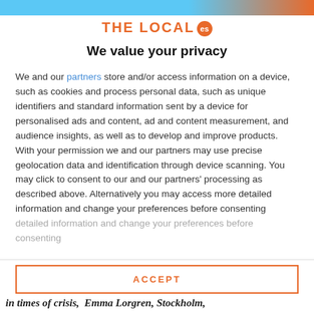[Figure (logo): The Local ES logo with orange text and orange circular badge with 'es']
We value your privacy
We and our partners store and/or access information on a device, such as cookies and process personal data, such as unique identifiers and standard information sent by a device for personalised ads and content, ad and content measurement, and audience insights, as well as to develop and improve products. With your permission we and our partners may use precise geolocation data and identification through device scanning. You may click to consent to our and our partners' processing as described above. Alternatively you may access more detailed information and change your preferences before consenting
ACCEPT
MORE OPTIONS
in times of crisis,  Emma Lorgren, Stockholm,